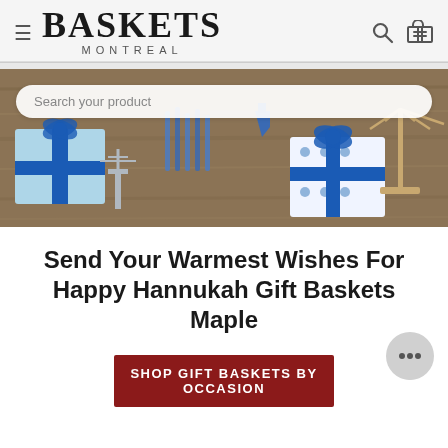BASKETS MONTREAL
[Figure (photo): Hanukkah-themed banner photo showing gift boxes with blue ribbons, Hanukkah candles, menorahs, dreidels on a wooden surface, with a search bar overlay reading 'Search your product']
Send Your Warmest Wishes For Happy Hannukah Gift Baskets Maple
SHOP GIFT BASKETS BY OCCASION